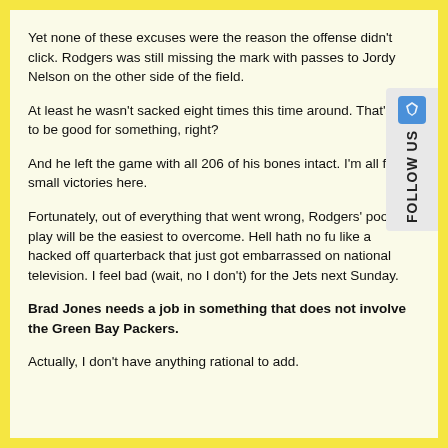Yet none of these excuses were the reason the offense didn't click. Rodgers was still missing the mark with passes to Jordy Nelson on the other side of the field.
At least he wasn't sacked eight times this time around. That's got to be good for something, right?
And he left the game with all 206 of his bones intact. I'm all for small victories here.
Fortunately, out of everything that went wrong, Rodgers' poor play will be the easiest to overcome. Hell hath no fu like a hacked off quarterback that just got embarrassed on national television. I feel bad (wait, no I don't) for the Jets next Sunday.
Brad Jones needs a job in something that does not involve the Green Bay Packers.
Actually, I don't have anything rational to add.